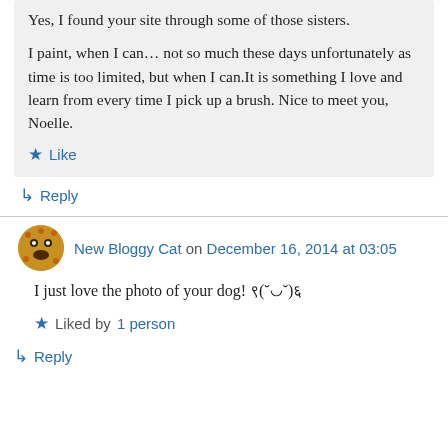Yes, I found your site through some of those sisters. I paint, when I can… not so much these days unfortunately as time is too limited, but when I can.It is something I love and learn from every time I pick up a brush. Nice to meet you, Noelle.
Like
Reply
New Bloggy Cat on December 16, 2014 at 03:05
I just love the photo of your dog! ९(˘◡˘)६
Liked by 1 person
Reply